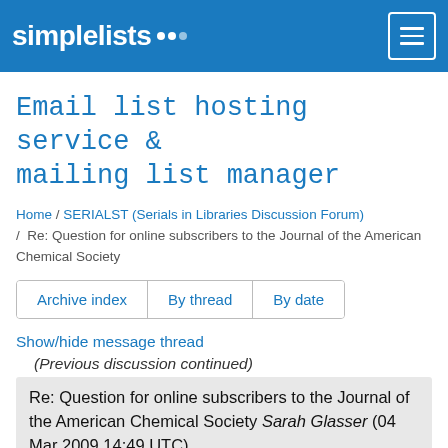simplelists [logo]
Email list hosting service & mailing list manager
Home / SERIALST (Serials in Libraries Discussion Forum) / Re: Question for online subscribers to the Journal of the American Chemical Society
Archive index | By thread | By date
Show/hide message thread
(Previous discussion continued)
Re: Question for online subscribers to the Journal of the American Chemical Society Sarah Glasser (04 Mar 2009 14:49 UTC)
Re: Question for online subscribers to the Journal of the